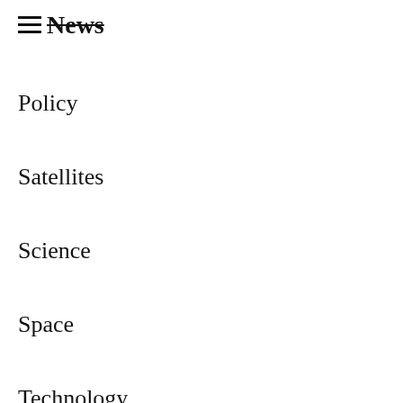News
Policy
Satellites
Science
Space
Technology
Uncategorized
World